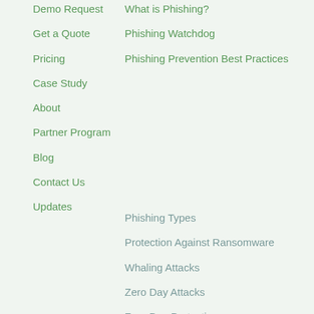Demo Request
Get a Quote
Pricing
Case Study
About
Partner Program
Blog
Contact Us
Updates
What is Phishing?
Phishing Watchdog
Phishing Prevention Best Practices
Phishing Types
Protection Against Ransomware
Whaling Attacks
Zero Day Attacks
Zero Day Protection